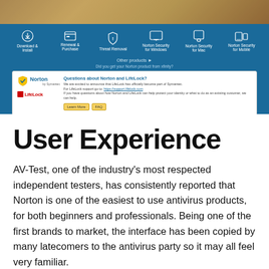[Figure (screenshot): Norton support website screenshot showing navigation icons (Download & Install, Renewal & Purchase, Threat Removal, Norton Security for Windows, Norton Security for Mac, Norton Security for Mobile), Other products link, 'Did you get your Norton product from xfinity?' text, and a Norton/LifeLock information banner with 'Questions about Norton and LifeLock?' heading, explanatory text, and Learn More/FAQ buttons.]
User Experience
AV-Test, one of the industry’s most respected independent testers, has consistently reported that Norton is one of the easiest to use antivirus products, for both beginners and professionals. Being one of the first brands to market, the interface has been copied by many latecomers to the antivirus party so it may all feel very familiar.
With intelligent scanning and low-resource activity, it can be run on low-spec computers without interruption to user experience and is